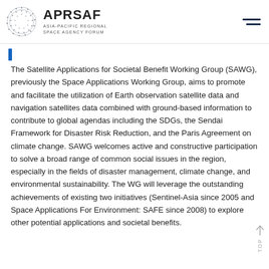APRSAF ASIA-PACIFIC REGIONAL SPACE AGENCY FORUM
The Satellite Applications for Societal Benefit Working Group (SAWG), previously the Space Applications Working Group, aims to promote and facilitate the utilization of Earth observation satellite data and navigation satellites data combined with ground-based information to contribute to global agendas including the SDGs, the Sendai Framework for Disaster Risk Reduction, and the Paris Agreement on climate change. SAWG welcomes active and constructive participation to solve a broad range of common social issues in the region, especially in the fields of disaster management, climate change, and environmental sustainability. The WG will leverage the outstanding achievements of existing two initiatives (Sentinel-Asia since 2005 and Space Applications For Environment: SAFE since 2008) to explore other potential applications and societal benefits.